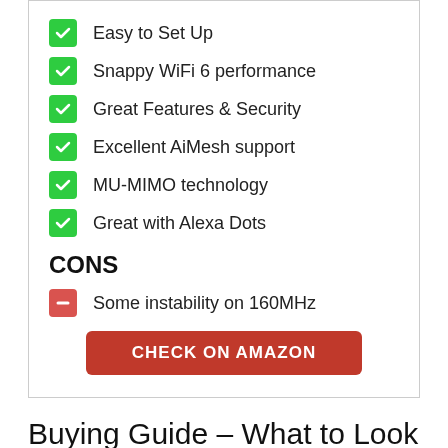Easy to Set Up
Snappy WiFi 6 performance
Great Features & Security
Excellent AiMesh support
MU-MIMO technology
Great with Alexa Dots
CONS
Some instability on 160MHz
CHECK ON AMAZON
Buying Guide – What to Look for When Choosing a Compatible